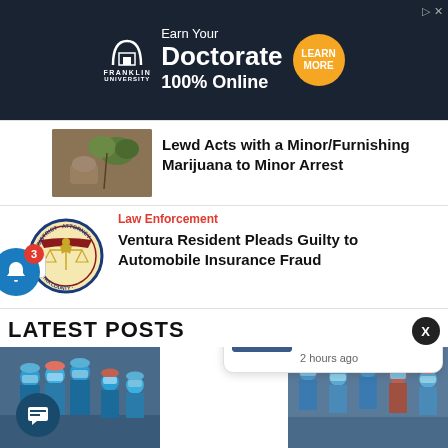[Figure (illustration): Franklin University advertisement banner: dark navy background, Franklin University logo (arch icon), text 'Earn Your Doctorate 100% Online', orange circular 'LEARN MORE' button, small ad icons top right]
Lewd Acts with a Minor/Furnishing Marijuana to Minor Arrest
Law Enforcement
Ventura Resident Pleads Guilty to Automobile Insurance Fraud
LATEST POSTS
St. John's Regional Medical Center First in the
2 hours ago